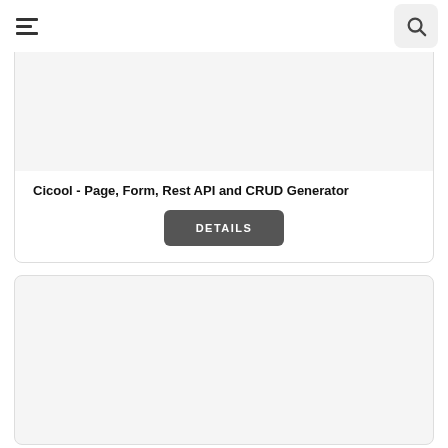Cicool - Page, Form, Rest API and CRUD Generator
DETAILS
[Figure (other): Second card image area placeholder (gray background)]